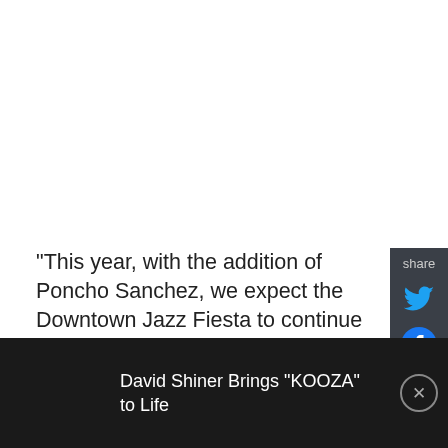"This year, with the addition of Poncho Sanchez, we expect the Downtown Jazz Fiesta to continue to grow and we are anticipating more than 15,000 attendees," said Yvonne Ervin, founding Executive Director and current Artistic Director.
All shows are expected to sell out this year as ticket sales are currently far ahead of last year's numbers.
David Shiner Brings "KOOZA" to Life